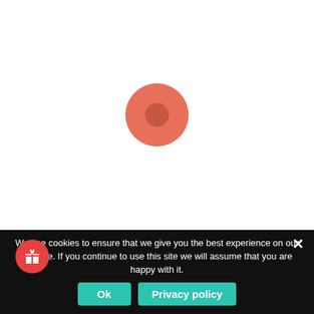[Figure (other): Loading spinner: a large salmon/coral colored circle with a darker concentric inner circle, displayed centered on a white background, indicating page loading state.]
We use cookies to ensure that we give you the best experience on our website. If you continue to use this site we will assume that you are happy with it.
Ok
Privacy policy